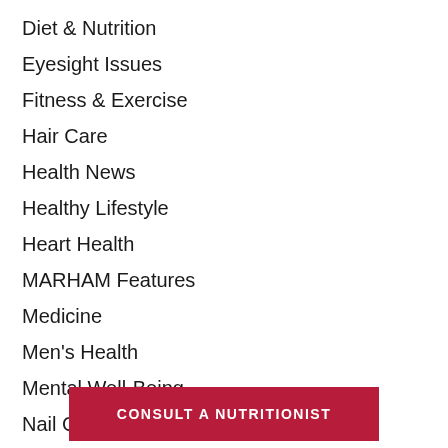Diet & Nutrition
Eyesight Issues
Fitness & Exercise
Hair Care
Health News
Healthy Lifestyle
Heart Health
MARHAM Features
Medicine
Men's Health
Mental Well-Being
Nail Care
News
CONSULT A NUTRITIONIST